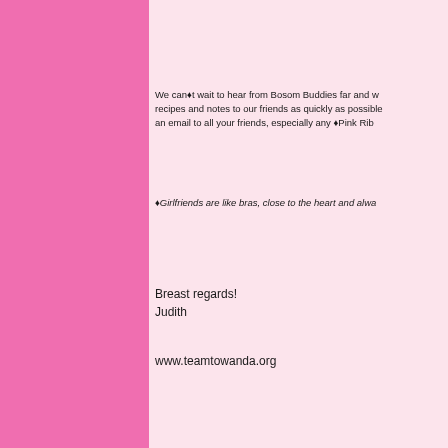We can◆t wait to hear from Bosom Buddies far and wide! We hope to get these recipes and notes to our friends as quickly as possible. Please help us by forwarding an email to all your friends, especially any ◆Pink Ribb
◆Girlfriends are like bras, close to the heart and alwa
Breast regards!
Judith
www.teamtowanda.org